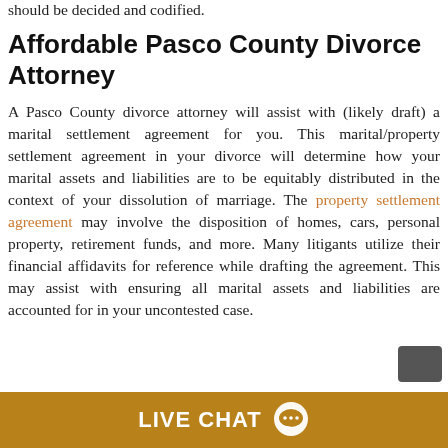should be decided and codified.
Affordable Pasco County Divorce Attorney
A Pasco County divorce attorney will assist with (likely draft) a marital settlement agreement for you. This marital/property settlement agreement in your divorce will determine how your marital assets and liabilities are to be equitably distributed in the context of your dissolution of marriage. The property settlement agreement may involve the disposition of homes, cars, personal property, retirement funds, and more. Many litigants utilize their financial affidavits for reference while drafting the agreement. This may assist with ensuring all marital assets and liabilities are accounted for in your uncontested case.
[Figure (other): Live chat button bar with chat bubble icon]